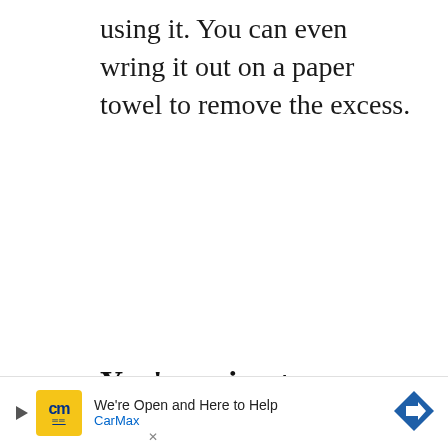using it. You can even wring it out on a paper towel to remove the excess.
You're using too hot/too
co
[Figure (other): CarMax advertisement banner with logo, text 'We're Open and Here to Help', 'CarMax', and a blue diamond arrow icon. Play and close buttons visible on left.]